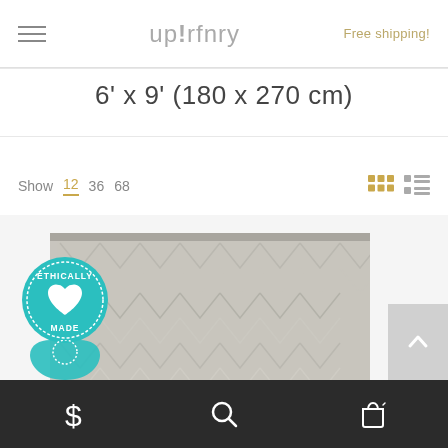up!rfnry — Free shipping!
6' x 9' (180 x 270 cm)
Show 12 36 68
[Figure (photo): Herringbone patterned rug in grey/white tones with 'Ethically Made' teal badge overlay]
Bottom navigation bar with dollar sign, search, and cart icons